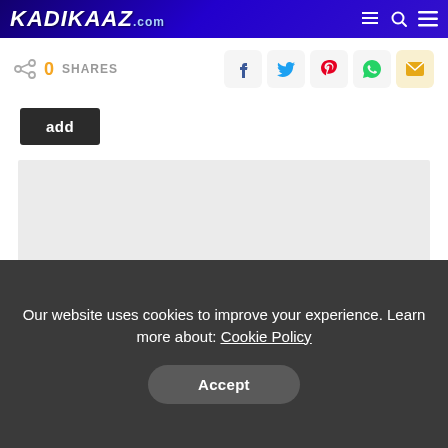KADIKAAZ.com
0 SHARES
add
[Figure (other): Gray placeholder content area]
Our website uses cookies to improve your experience. Learn more about: Cookie Policy
Accept